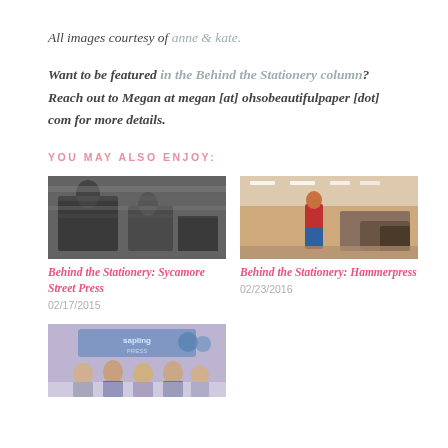All images courtesy of anne & kate.
Want to be featured in the Behind the Stationery column? Reach out to Megan at megan [at] ohsobeautifulpaper [dot] com for more details.
YOU MAY ALSO ENJOY:
[Figure (photo): Black and white photo of people working at a printing press — Behind the Stationery: Sycamore Street Press]
Behind the Stationery: Sycamore Street Press
02/17/2015
[Figure (photo): Color photo of a child in a warehouse with motorcycles — Behind the Stationery: Hammerpress]
Behind the Stationery: Hammerpress
02/23/2016
[Figure (photo): Photo of group of women in front of Sapling Press storefront]